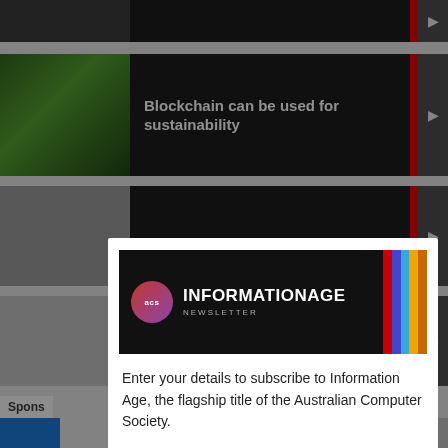[Figure (screenshot): Background website with dark article card showing 'Blockchain can be used for sustainability']
[Figure (screenshot): Modal popup for Information Age Newsletter subscription with ACS logo, colorful vertical bars, subscription text, and email address field]
Close ×
INFORMATION AGE NEWSLETTER
Enter your details to subscribe to Information Age, the flagship title of the Australian Computer Society.
Each week you'll receive a selection of the latest articles so you can stay up to date with the latest news, analysis and opinion.
Email address:
Blockchain can be used for sustainability
Spons